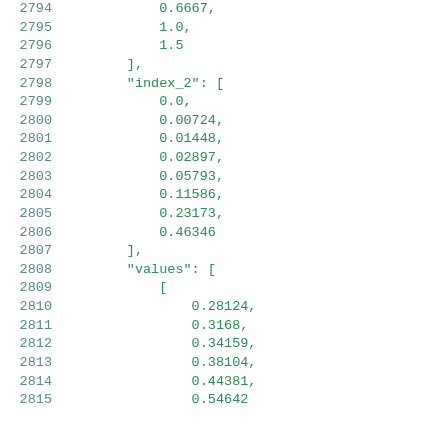2794    0.6667,
2795    1.0,
2796    1.5
2797    ],
2798    "index_2": [
2799    0.0,
2800    0.00724,
2801    0.01448,
2802    0.02897,
2803    0.05793,
2804    0.11586,
2805    0.23173,
2806    0.46346
2807    ],
2808    "values": [
2809    [
2810    0.28124,
2811    0.3168,
2812    0.34159,
2813    0.38104,
2814    0.44381,
2815    0.54642